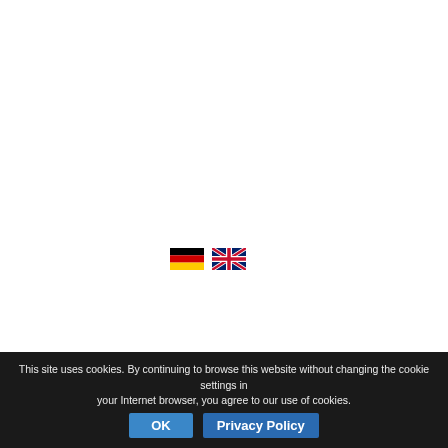[Figure (illustration): German flag icon (black-red-gold horizontal stripes)]
[Figure (illustration): UK flag icon (Union Jack)]
Pharma and packaging machines
Counting and filling machines
Capping machines
Length sorting machines
Buffer tables
LEGAL N
INFORM
Dollberg M
Walter-Fres
42799 Leic
Repres
Uwe Dollbe
Contac
Telephone
This site uses cookies. By continuing to browse this website without changing the cookie settings in your Internet browser, you agree to our use of cookies.
OK
Privacy Policy